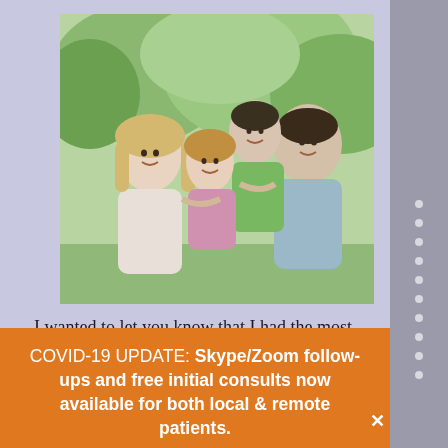[Figure (photo): A happy family of four — a mother, father, and two children (a young girl and an older boy) — smiling and piggy-back riding outdoors with green trees in the background.]
I wanted to let you know that I had the most wonderful sleep last night. I went to bed at around 11 and slept till the alarm woke me up. In the morning, I
COVID-19 UPDATE: Skype/Zoom follow-ups and free initial consults now available for both local & remote patients.
Click Now For Details